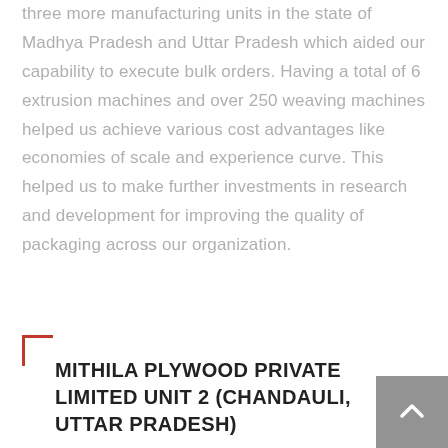three more manufacturing units in the state of Madhya Pradesh and Uttar Pradesh which aided our capability to execute bulk orders. Having a total of 6 extrusion machines and over 250 weaving machines helped us achieve various cost advantages like economies of scale and experience curve. This helped us to make further investments in research and development for improving the quality of packaging across our organization.
MITHILA PLYWOOD PRIVATE LIMITED UNIT 2 (CHANDAULI, UTTAR PRADESH)